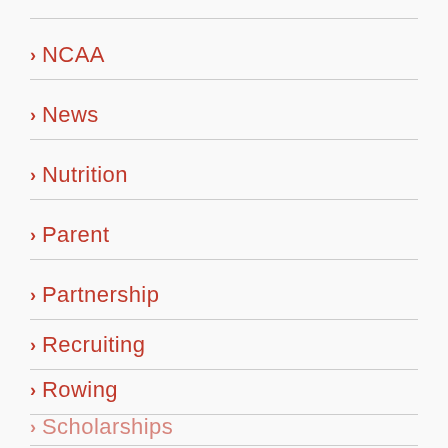NCAA
News
Nutrition
Parent
Partnership
Recruiting
Rowing
Scholarships
Soccer